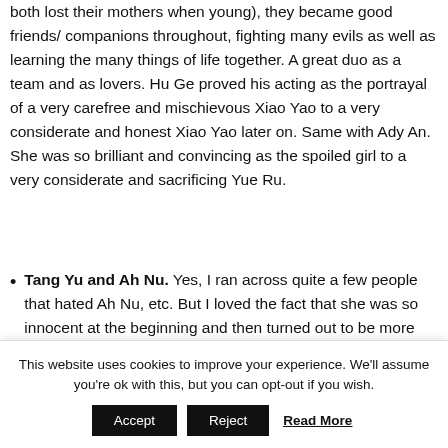both lost their mothers when young), they became good friends/ companions throughout, fighting many evils as well as learning the many things of life together. A great duo as a team and as lovers. Hu Ge proved his acting as the portrayal of a very carefree and mischievous Xiao Yao to a very considerate and honest Xiao Yao later on. Same with Ady An. She was so brilliant and convincing as the spoiled girl to a very considerate and sacrificing Yue Ru.
Tang Yu and Ah Nu. Yes, I ran across quite a few people that hated Ah Nu, etc. But I loved the fact that she was so innocent at the beginning and then turned out to be more mature and considerate
This website uses cookies to improve your experience. We'll assume you're ok with this, but you can opt-out if you wish.